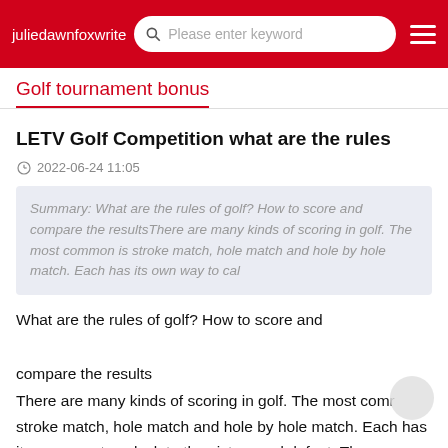juliedawnfoxwrite   Please enter keyword
Golf tournament bonus
LETV Golf Competition what are the rules
2022-06-24 11:05
Summary: What are the rules of golf? How to score and compare the resultsThere are many kinds of scoring in golf. The most common is stroke match, hole match and hole by hole match. Each has its own way to cal
What are the rules of golf? How to score and

compare the results
There are many kinds of scoring in golf. The most comr stroke match, hole match and hole by hole match. Each has its own way to calculate the victory and defeat. There are